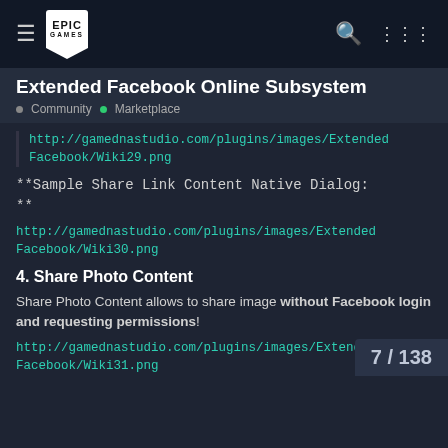Extended Facebook Online Subsystem — Community • Marketplace
http://gamednastudio.com/plugins/images/ExtendedFacebook/Wiki29.png
**Sample Share Link Content Native Dialog:
**
http://gamednastudio.com/plugins/images/ExtendedFacebook/Wiki30.png
4. Share Photo Content
Share Photo Content allows to share image without Facebook login and requesting permissions!
http://gamednastudio.com/plugins/images/ExtendedFacebook/Wiki31.png
7 / 138